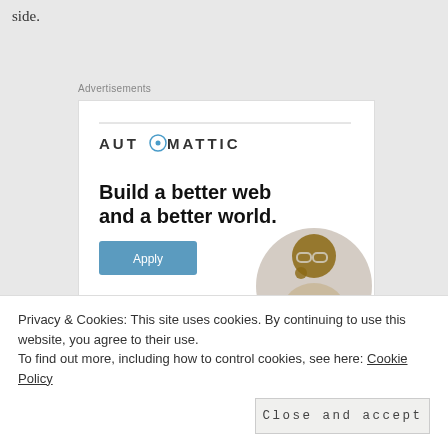side.
Advertisements
[Figure (screenshot): Automattic advertisement showing logo, headline 'Build a better web and a better world.' with an Apply button and image of a man thinking]
Privacy & Cookies: This site uses cookies. By continuing to use this website, you agree to their use.
To find out more, including how to control cookies, see here: Cookie Policy
Close and accept
favorite finger foods, but he also enjoys black